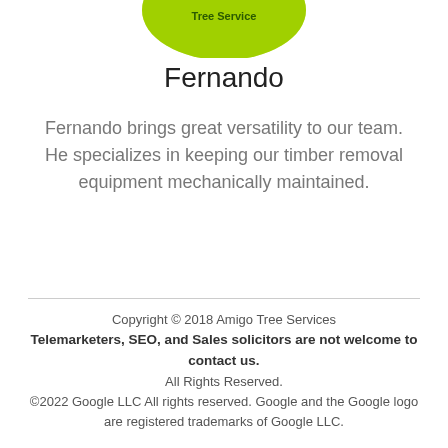[Figure (logo): Amigo Tree Service logo — green oval shape with 'Tree Service' text in dark, partially visible at top of page]
Fernando
Fernando brings great versatility to our team. He specializes in keeping our timber removal equipment mechanically maintained.
Copyright © 2018 Amigo Tree Services
Telemarketers, SEO, and Sales solicitors are not welcome to contact us.
All Rights Reserved.
©2022 Google LLC All rights reserved. Google and the Google logo are registered trademarks of Google LLC.
Powered by GoDaddy Website Builder